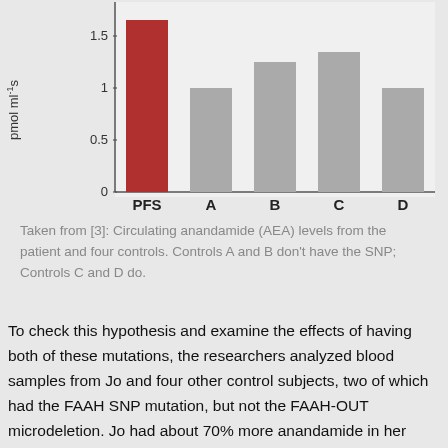[Figure (bar-chart): ]
Taken from [3]: Circulating anandamide (AEA) levels from the patient and four controls. Controls A and B don't have the SNP; Controls C and D do.
To check this hypothesis and examine the effects of having both of these mutations, the researchers analyzed blood samples from Jo and four other control subjects, two of which had the FAAH SNP mutation, but not the FAAH-OUT microdeletion. Jo had about 70% more anandamide in her blood than the four controls, supporting the